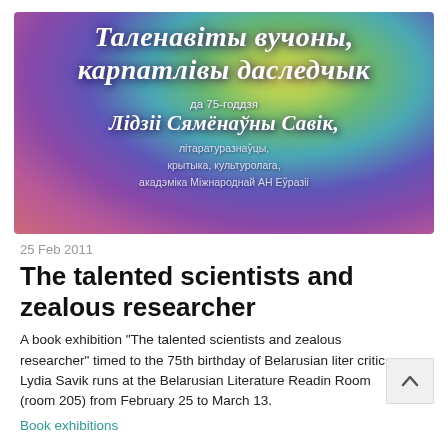[Figure (illustration): Colorful poster with purple, green, yellow and pink gradient background. Contains Belarusian text: 'Таленавіты вучоны, карпатлівы даследчык' (The talented scientist, zealous researcher) in large white italic script, then 'да 75-годдзя' (to the 75th anniversary), 'Лідзіі Сямёнаўны Савік,' in large decorative font, and below 'літаратуразнаўцы, крытыка, культуролага, акадэміка Міжнароднай АН Еўразіі' in smaller text.]
25 Feb 2011
The talented scientists and zealous researcher
A book exhibition "The talented scientists and zealous researcher" timed to the 75th birthday of Belarusian liter critic Lydia Savik runs at the Belarusian Literature Reading Room (room 205) from February 25 to March 13.
Book exhibitions